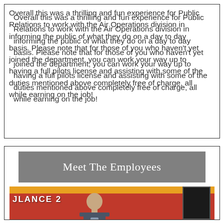Overall this was a thrilling and fun experience for Public Relations to work with the Air Operations division in informing the public of what they do on a day to day basis. Please note that for those of you who haven't yet joined the department, you can work your way up to having a full pilots license and assisting with some of the duties mentioned above completely free of charge, all while earning on the job!
Meet The Employees
[Figure (photo): A man in a police/fire officer uniform standing in front of a red fire truck or ambulance. The vehicle has text reading 'JLANCE 2' visible on its side.]